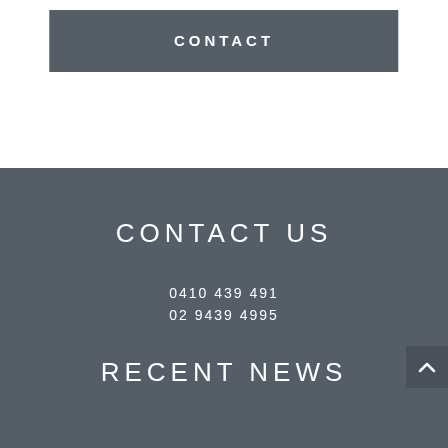CONTACT
CONTACT US
0410 439 491
02 9439 4995
RECENT NEWS